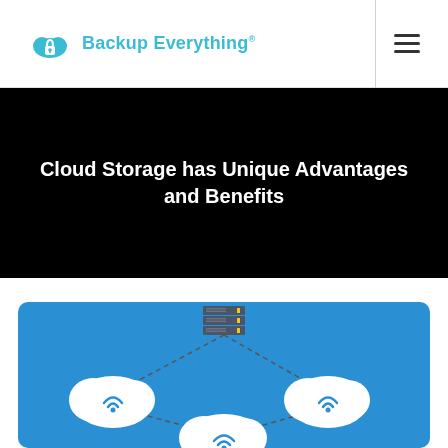Backup Everything
Cloud Storage has Unique Advantages and Benefits
[Figure (illustration): Blue panel showing a server/database icon at the top connected by dashed lines to three white cloud icons with WiFi symbols, arranged in a triangle formation on a blue background.]